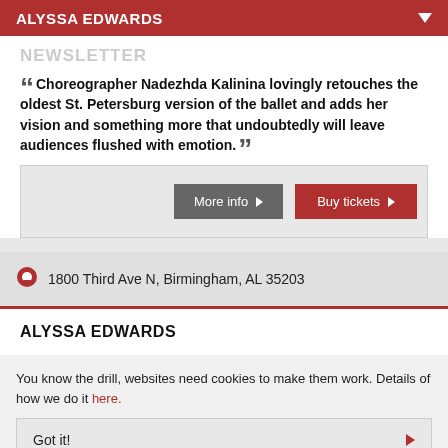ALYSSA EDWARDS
Choreographer Nadezhda Kalinina lovingly retouches the oldest St. Petersburg version of the ballet and adds her vision and something more that undoubtedly will leave audiences flushed with emotion.
More info   Buy tickets
1800 Third Ave N, Birmingham, AL 35203
ALYSSA EDWARDS
You know the drill, websites need cookies to make them work. Details of how we do it here.
Got it!